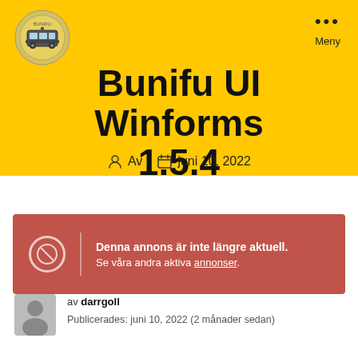[Figure (logo): Circular logo with yellow background and tram/bus icon]
Bunifu UI Winforms 1.5.4
Av  juni 10, 2022
Denna annons är inte längre aktuell. Se våra andra aktiva annonser.
av darrgoll
Publicerades: juni 10, 2022 (2 månader sedan)